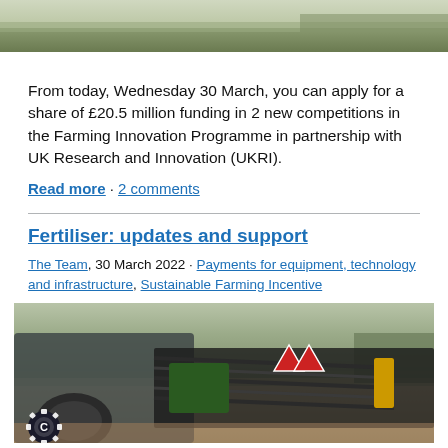[Figure (photo): Aerial/landscape photo of green farmland fields, partially cropped at top]
From today, Wednesday 30 March, you can apply for a share of £20.5 million funding in 2 new competitions in the Farming Innovation Programme in partnership with UK Research and Innovation (UKRI).
Read more · 2 comments
Fertiliser: updates and support
The Team, 30 March 2022 · Payments for equipment, technology and infrastructure, Sustainable Farming Incentive
[Figure (photo): Photo of a fertiliser/slurry injection machine/tractor equipment working on a field, with hoses and attachments, with a cogwheel/settings icon overlay in bottom left]